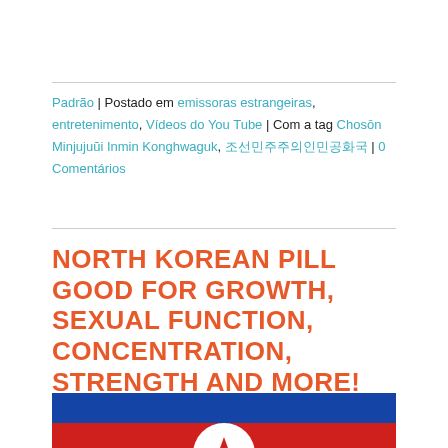Padrão | Postado em emissoras estrangeiras, entretenimento, Vídeos do You Tube | Com a tag Chosōn Minjujuŭi Inmin Konghwaguk, 조선민주주의인민공화국 | 0 Comentários
NORTH KOREAN PILL GOOD FOR GROWTH, SEXUAL FUNCTION, CONCENTRATION, STRENGTH AND MORE!
[Figure (illustration): North Korean flag showing blue stripe on top, red field below, with white circle containing a red star in the center]